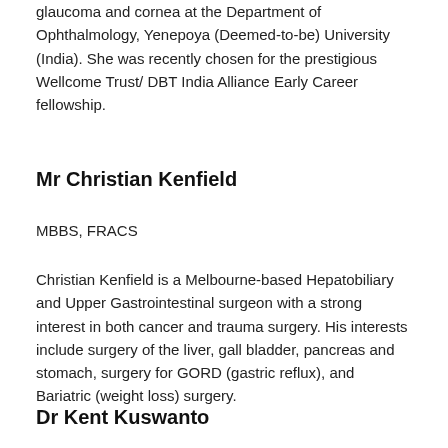glaucoma and cornea at the Department of Ophthalmology, Yenepoya (Deemed-to-be) University (India). She was recently chosen for the prestigious Wellcome Trust/ DBT India Alliance Early Career fellowship.
Mr Christian Kenfield
MBBS, FRACS
Christian Kenfield is a Melbourne-based Hepatobiliary and Upper Gastrointestinal surgeon with a strong interest in both cancer and trauma surgery. His interests include surgery of the liver, gall bladder, pancreas and stomach, surgery for GORD (gastric reflux), and Bariatric (weight loss) surgery.
Dr Kent Kuswanto